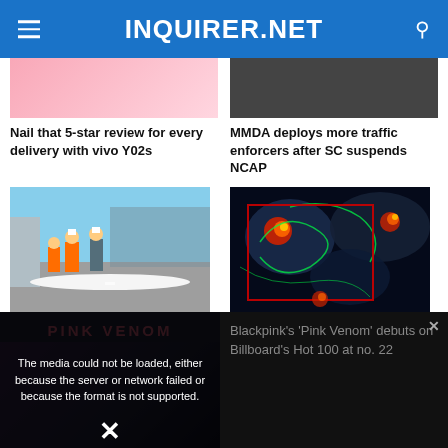INQUIRER.NET
Nail that 5-star review for every delivery with vivo Y02s
MMDA deploys more traffic enforcers after SC suspends NCAP
[Figure (photo): Workers in orange safety vests and hard hats standing on a road near what appears to be a construction or infrastructure site]
House energy committee chair Arroyo bats for cheap electricity
[Figure (photo): Satellite weather image showing tropical storm system with colorful radar imagery over what appears to be the Philippines region]
LIVE UPDATES: Super Typhoon Henry, Tropical Depression Gardo latest news
The media could not be loaded, either because the server or network failed or because the format is not supported.
Blackpink's 'Pink Venom' debuts on Billboard's Hot 100 at no. 22